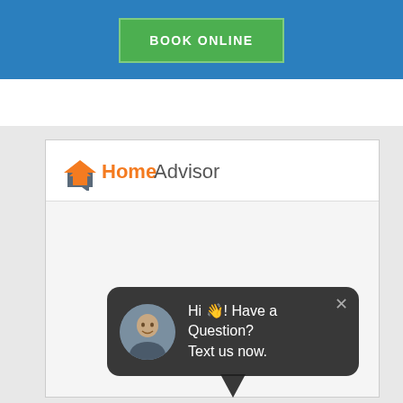BOOK ONLINE
[Figure (logo): HomeAdvisor logo with orange house/arrow icon and text 'Home' in orange bold and 'Advisor' in gray]
[Figure (screenshot): Dark rounded chat bubble with man's avatar photo on left and white text 'Hi ! Have a Question? Text us now.' with X close button, speech bubble tail pointing down]